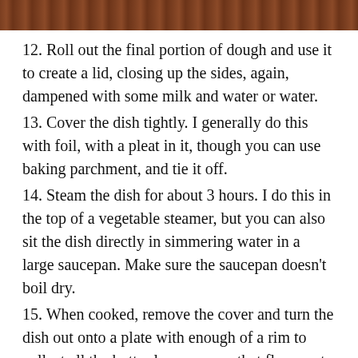[Figure (photo): Top portion of a food photo on a wooden surface, cropped at the top of the page]
12. Roll out the final portion of dough and use it to create a lid, closing up the sides, again, dampened with some milk and water or water.
13. Cover the dish tightly. I generally do this with foil, with a pleat in it, though you can use baking parchment, and tie it off.
14. Steam the dish for about 3 hours. I do this in the top of a vegetable steamer, but you can also sit the dish directly in simmering water in a large saucepan. Make sure the saucepan doesn't boil dry.
15. When cooked, remove the cover and turn the dish out onto a plate with enough of a rim to collect all the butter lemon sauce that flows out.
16. Serve with cream, ice cream or custard. We had clotted cream.